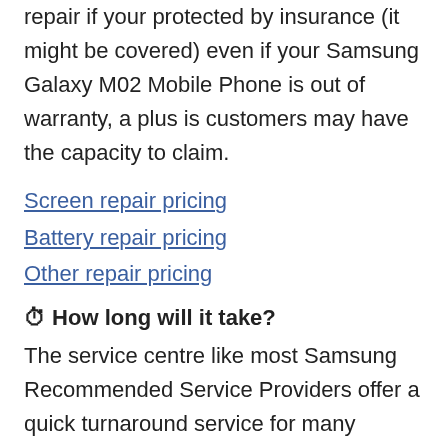repair if your protected by insurance (it might be covered) even if your Samsung Galaxy M02 Mobile Phone is out of warranty, a plus is customers may have the capacity to claim.
Screen repair pricing
Battery repair pricing
Other repair pricing
⏱ How long will it take?
The service centre like most Samsung Recommended Service Providers offer a quick turnaround service for many repairs, such as screen repair. If you send your Samsung Galaxy M02 directly to our Repair Centre our technician